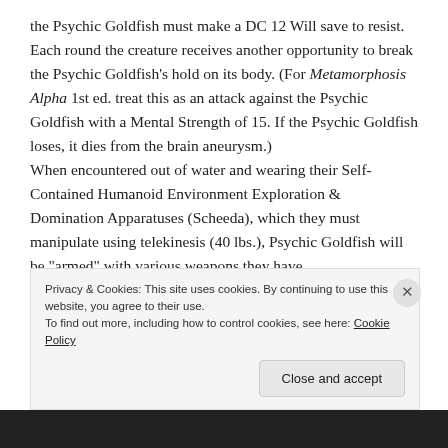the Psychic Goldfish must make a DC 12 Will save to resist. Each round the creature receives another opportunity to break the Psychic Goldfish's hold on its body. (For Metamorphosis Alpha 1st ed. treat this as an attack against the Psychic Goldfish with a Mental Strength of 15. If the Psychic Goldfish loses, it dies from the brain aneurysm.) When encountered out of water and wearing their Self-Contained Humanoid Environment Exploration & Domination Apparatuses (Scheeda), which they must manipulate using telekinesis (40 lbs.), Psychic Goldfish will be "armed" with various weapons they have
Privacy & Cookies: This site uses cookies. By continuing to use this website, you agree to their use.
To find out more, including how to control cookies, see here: Cookie Policy
Close and accept